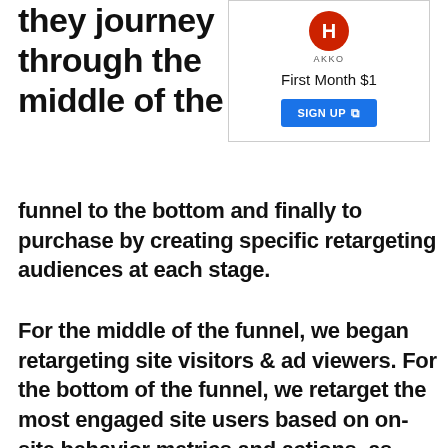they journey through the middle of the
[Figure (other): Advertisement card with red circular logo with letter H, brand name AKKO, headline 'First Month $1', and a blue SIGN UP button with external link icon]
funnel to the bottom and finally to purchase by creating specific retargeting audiences at each stage.
For the middle of the funnel, we began retargeting site visitors & ad viewers. For the bottom of the funnel, we retarget the most engaged site users based on on-site behavior metrics and actions, as well as those who have started the device